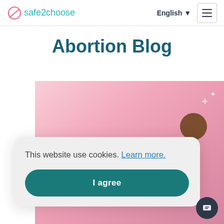safe2choose | English | menu
Abortion Blog
[Figure (photo): Pink gradient background image with a person's head visible in the lower right and sparkle decorations, partially obscured by cookie banner]
This website use cookies. Learn more.
I agree